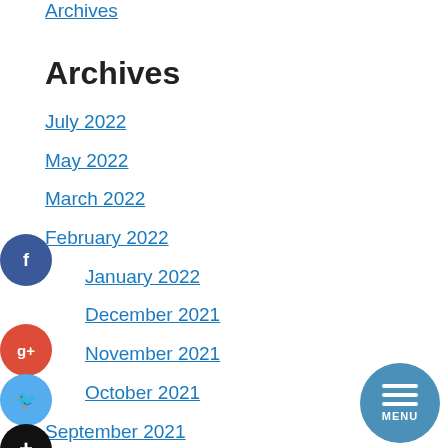Archives
July 2022
May 2022
March 2022
February 2022
January 2022
December 2021
November 2021
October 2021
September 2021
August 2021